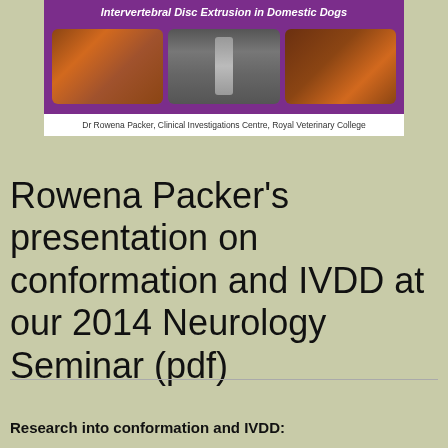[Figure (photo): Slide image showing 'Intervertebral Disc Extrusion in Domestic Dogs' with a purple header bar, three photos of dogs (two dachshunds and an X-ray of a spine), and credit text: Dr Rowena Packer, Clinical Investigations Centre, Royal Veterinary College]
Rowena Packer's presentation on conformation and IVDD at our 2014 Neurology Seminar (pdf)
Research into conformation and IVDD: